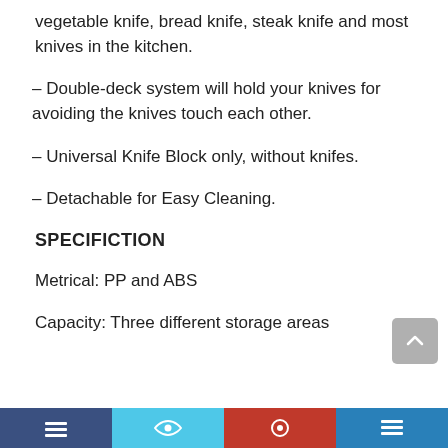vegetable knife, bread knife, steak knife and most knives in the kitchen.
– Double-deck system will hold your knives for avoiding the knives touch each other.
– Universal Knife Block only, without knifes.
– Detachable for Easy Cleaning.
SPECIFICTION
Metrical: PP and ABS
Capacity: Three different storage areas